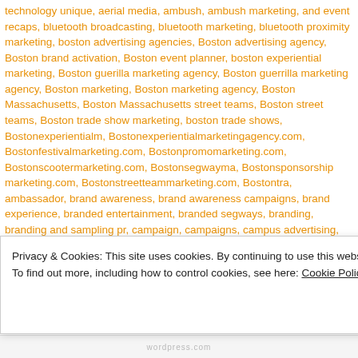technology unique, aerial media, ambush, ambush marketing, and event recaps, bluetooth broadcasting, bluetooth marketing, bluetooth proximity marketing, boston advertising agencies, Boston advertising agency, Boston brand activation, Boston event planner, boston experiential marketing, Boston guerilla marketing agency, Boston guerrilla marketing agency, Boston marketing, Boston marketing agency, Boston Massachusetts, Boston Massachusetts street teams, Boston street teams, Boston trade show marketing, boston trade shows, Bostonexperientialm, Bostonexperientialmarketingagency.com, Bostonfestivalmarketing.com, Bostonpromomarketing.com, Bostonscootermarketing.com, Bostonsegwayma, Bostonsponsorship marketing.com, Bostonstreetteammarketing.com, Bostontra, ambassador, brand awareness, brand awareness campaigns, brand experience, branded entertainment, branded segways, branding, branding and sampling pr, campaign, campaigns, campus advertising, campus marketing, classic street teams marketing, consumer engagement, Continuing education in Event Marketing, corporate trade show, corporate, corporate events, creation, culture, customizable segwa, advertising agencies, eco-friendly, enthusiastic and experienced teams, event br, event marketing, events, events street teams, events stunts, experience marketi, Boston, experiential, experiential agency, experiential marketing, experiential m, marketing agency, experiential marketing boston, expos, fundraising events, Gr
Privacy & Cookies: This site uses cookies. By continuing to use this website, you agree to their use.
To find out more, including how to control cookies, see here: Cookie Policy
Close and accept
wordpress.com